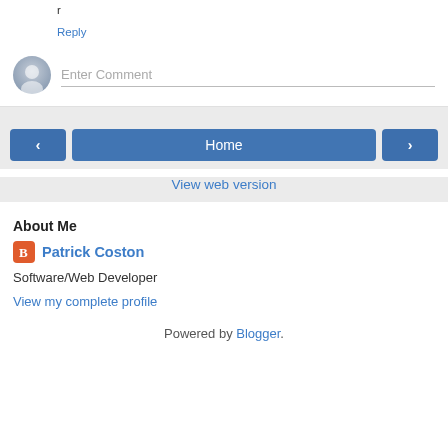r
Reply
Enter Comment
Home
View web version
About Me
Patrick Coston
Software/Web Developer
View my complete profile
Powered by Blogger.